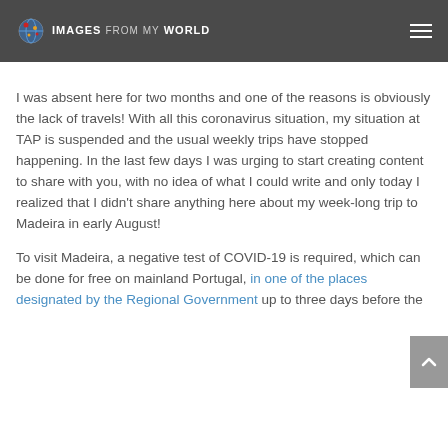IMAGES from my WORLD
I was absent here for two months and one of the reasons is obviously the lack of travels! With all this coronavirus situation, my situation at TAP is suspended and the usual weekly trips have stopped happening. In the last few days I was urging to start creating content to share with you, with no idea of what I could write and only today I realized that I didn't share anything here about my week-long trip to Madeira in early August!
To visit Madeira, a negative test of COVID-19 is required, which can be done for free on mainland Portugal, in one of the places designated by the Regional Government up to three days before the